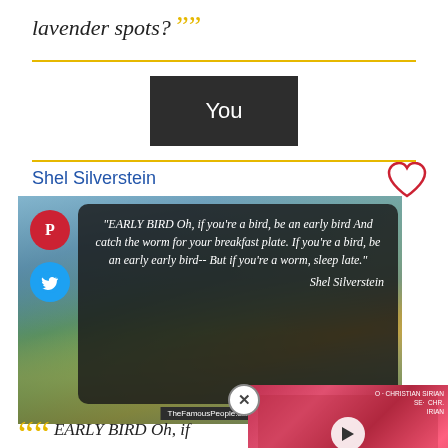lavender spots? ””
You
Shel Silverstein
[Figure (illustration): Image card with a scenic background (blue sky, mountains, autumn trees). A dark semi-transparent box contains an italic quote: “EARLY BIRD Oh, if you’re a bird, be an early bird And catch the worm for your breakfast plate. If you’re a bird, be an early early bird-- But if you’re a worm, sleep late.” with Shel Silverstein signature. Pinterest and Twitter share buttons on the left. TheFamousPeople.com label at bottom.]
[Figure (photo): Video thumbnail overlay showing two people posing in front of a pink/red background with text CHRISTIAN SIRIAN, CHRS, IRIAN visible. Play button in center. Close button at left edge.]
““ EARLY BIRD Oh, if early bird And catch the w plate. If you’re a bird, be a